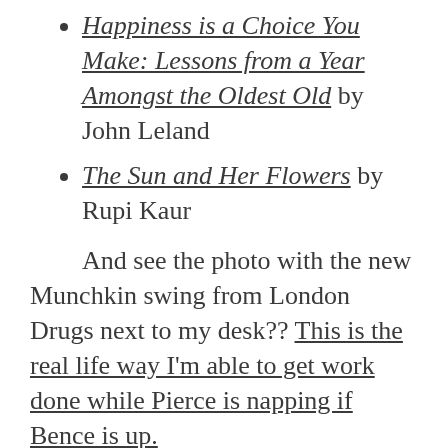Happiness is a Choice You Make: Lessons from a Year Amongst the Oldest Old by John Leland
The Sun and Her Flowers by Rupi Kaur
And see the photo with the new Munchkin swing from London Drugs next to my desk?? This is the real life way I'm able to get work done while Pierce is napping if Bence is up.
I also have some artwork on the wall from Minted both in a brushed silver frame